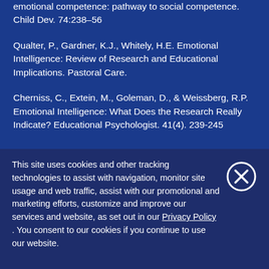emotional competence: pathway to social competence. Child Dev. 74:238–56
Qualter, P., Gardner, K.J., Whitely, H.E. Emotional Intelligence: Review of Research and Educational Implications. Pastoral Care.
Cherniss, C., Extein, M., Goleman, D., & Weissberg, R.P. Emotional Intelligence: What Does the Research Really Indicate? Educational Psychologist. 41(4). 239-245
This site uses cookies and other tracking technologies to assist with navigation, monitor site usage and web traffic, assist with our promotional and marketing efforts, customize and improve our services and website, as set out in our Privacy Policy. You consent to our cookies if you continue to use our website.